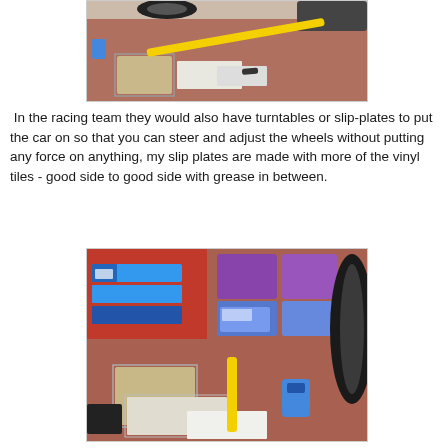[Figure (photo): Garage floor photo showing a yellow measuring stick/rod, some paper/cardboard sheets, and tires/vehicle parts in the background on a red-brown concrete floor.]
In the racing team they would also have turntables or slip-plates to put the car on so that you can steer and adjust the wheels without putting any force on anything, my slip plates are made with more of the vinyl tiles - good side to good side with grease in between.
[Figure (photo): Garage floor photo showing vinyl tile slip plates on concrete floor, a yellow measuring rod, a car tire visible at right, storage shelving with blue and purple bins in background, and a blue marker/label device.]